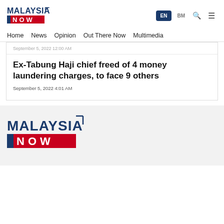[Figure (logo): MalaysiaNow logo in header — 'MALAYSIA' in dark blue with bracket, 'NOW' in white on red bar with blue stripe]
EN  BM  [search icon]  [menu icon]
Home  News  Opinion  Out There Now  Multimedia
September 5, 2022 12:00 AM
Ex-Tabung Haji chief freed of 4 money laundering charges, to face 9 others
September 5, 2022 4:01 AM
[Figure (logo): MalaysiaNow footer logo — larger version: 'MALAYSIA' in dark blue with bracket accent, 'NOW' in white on red bar with blue stripe]